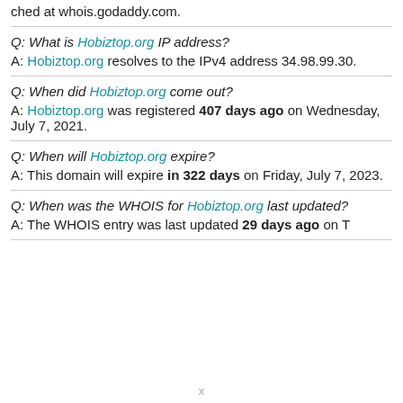ched at whois.godaddy.com.
Q: What is Hobiztop.org IP address?
A: Hobiztop.org resolves to the IPv4 address 34.98.99.30.
Q: When did Hobiztop.org come out?
A: Hobiztop.org was registered 407 days ago on Wednesday, July 7, 2021.
Q: When will Hobiztop.org expire?
A: This domain will expire in 322 days on Friday, July 7, 2023.
Q: When was the WHOIS for Hobiztop.org last updated?
A: The WHOIS entry was last updated 29 days ago on T